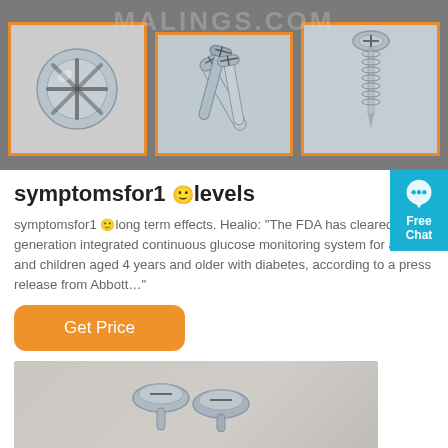[Figure (photo): Three framed photos of metal screws on gray background with orange borders, with a faint watermark overlay.]
symptomsfor1 🙂levels
symptomsfor1 🙂long term effects. Healio: "The FDA has cleared next-generation integrated continuous glucose monitoring system for adults and children aged 4 years and older with diabetes, according to a press release from Abbott..."
[Figure (photo): A close-up photo of two metal screws on a light gray surface.]